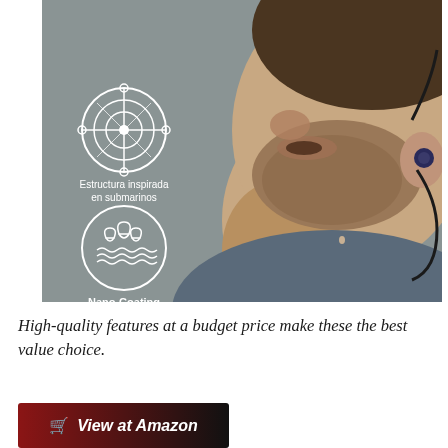[Figure (photo): Close-up side profile photo of a man wearing wireless Bluetooth earphones with a black neckband, running or exercising. The image has two white circular icons overlaid on the left side: one showing a submarine-inspired structure ('Estructura inspirada en submarinos') and one showing water droplets on a surface ('Nano-Coating'). Background is grey.]
High-quality features at a budget price make these the best value choice.
[Figure (other): Red and black 'View at Amazon' button with a shopping cart icon on the left.]